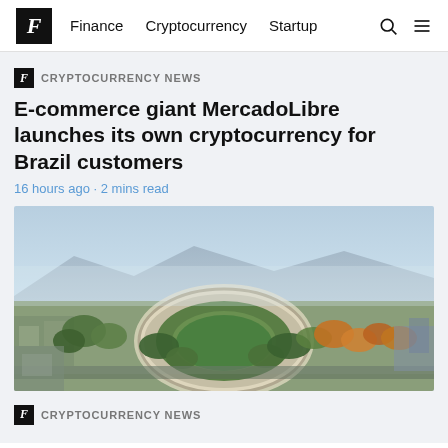F  Finance  Cryptocurrency  Startup
CRYPTOCURRENCY NEWS
E-commerce giant MercadoLibre launches its own cryptocurrency for Brazil customers
16 hours ago · 2 mins read
[Figure (photo): Aerial view of a large circular corporate campus building surrounded by trees and suburban landscape, with mountains in the background]
CRYPTOCURRENCY NEWS